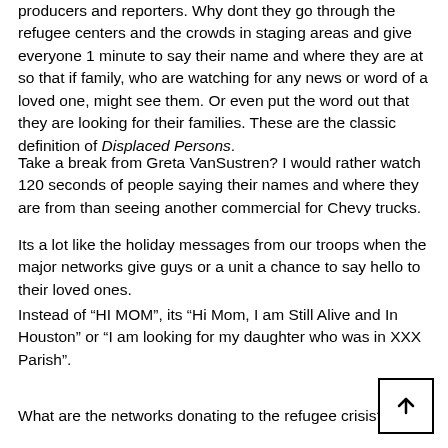producers and reporters. Why dont they go through the refugee centers and the crowds in staging areas and give everyone 1 minute to say their name and where they are at so that if family, who are watching for any news or word of a loved one, might see them. Or even put the word out that they are looking for their families. These are the classic definition of Displaced Persons.
Take a break from Greta VanSustren? I would rather watch 120 seconds of people saying their names and where they are from than seeing another commercial for Chevy trucks.
Its a lot like the holiday messages from our troops when the major networks give guys or a unit a chance to say hello to their loved ones.
Instead of “HI MOM”, its “Hi Mom, I am Still Alive and In Houston” or “I am looking for my daughter who was in XXX Parish”.
What are the networks donating to the refugee crisis?